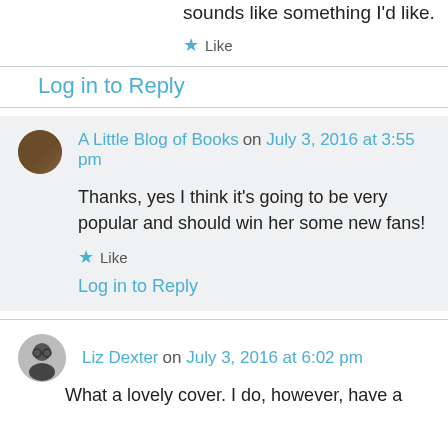Sounds like something I'd like.
★ Like
Log in to Reply
A Little Blog of Books on July 3, 2016 at 3:55 pm
Thanks, yes I think it's going to be very popular and should win her some new fans!
★ Like
Log in to Reply
Liz Dexter on July 3, 2016 at 6:02 pm
What a lovely cover. I do, however, have a